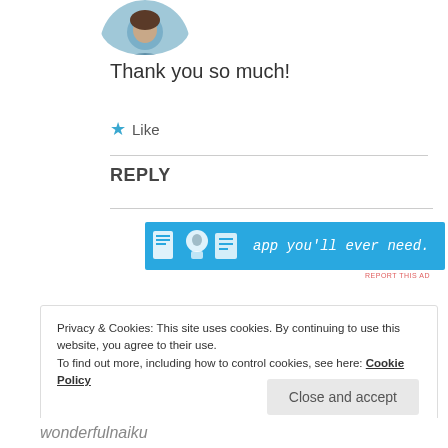[Figure (photo): Circular avatar photo of a person, partially cropped at top]
Thank you so much!
★ Like
REPLY
[Figure (infographic): Blue advertisement banner with app icons and text 'app you’ll ever need.']
REPORT THIS AD
Privacy & Cookies: This site uses cookies. By continuing to use this website, you agree to their use.
To find out more, including how to control cookies, see here: Cookie Policy
Close and accept
wonderfulnaiku